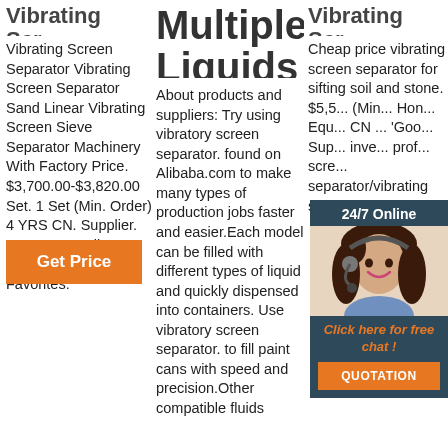Vibrating Screen Separator Vibrating Screen Separator Sand Linear Vibrating Screen Sieve Separator Machinery With Factory Price. $3,700.00-$3,820.00 Set. 1 Set (Min. Order) 4 YRS CN. Supplier. Contact Supplier. Compare. Ad. Add to Favorites.
Multiple Liquids ...
About products and suppliers: Try using vibratory screen separator. found on Alibaba.com to make many types of production jobs faster and easier.Each model can be filled with different types of liquid and quickly dispensed into containers. Use vibratory screen separator. to fill paint cans with speed and precision.Other compatible fluids
Cheap price vibrating screen separator for sifting soil and stone. $5,5... (Min... Hon... Equ... CN ... 'Goo... Sup... inve... prof... scre... separator/vibrating screen separator ...
[Figure (photo): Customer service representative with headset, part of a 24/7 Online chat widget with orange QUOTATION button]
[Figure (other): TOP icon with orange dots and text]
Get Price
Get Price